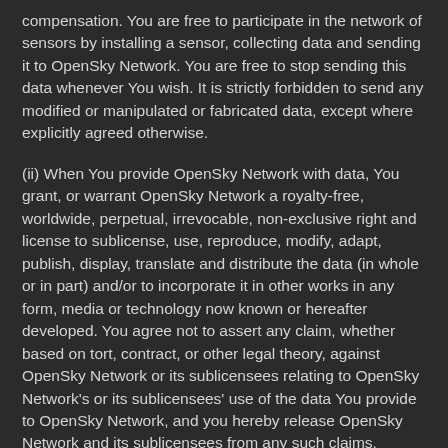compensation. You are free to participate in the network of sensors by installing a sensor, collecting data and sending it to OpenSky Network. You are free to stop sending this data whenever You wish. It is strictly forbidden to send any modified or manipulated or fabricated data, except where explicitly agreed otherwise.
(ii) When You provide OpenSky Network with data, You grant, or warrant OpenSky Network a royalty-free, worldwide, perpetual, irrevocable, non-exclusive right and license to sublicense, use, reproduce, modify, adapt, publish, display, translate and distribute the data (in whole or in part) and/or to incorporate it in other works in any form, media or technology now known or hereafter developed. You agree not to assert any claim, whether based on tort, contract, or other legal theory, against OpenSky Network or its sublicensees relating to OpenSky Network's or its sublicensees' use of the data You provide to OpenSky Network, and you hereby release OpenSky Network and its sublicensees from any such claims.
(iii) You represent that the data You provide to OpenSky